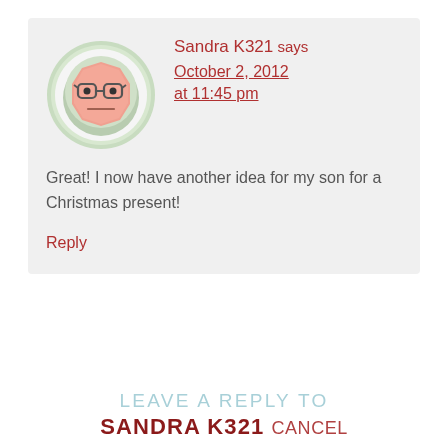[Figure (illustration): Cartoon avatar of a person with glasses, octagonal pink face, neutral expression, on a green circular background]
Sandra K321 says
October 2, 2012
at 11:45 pm
Great! I now have another idea for my son for a Christmas present!
Reply
LEAVE A REPLY TO
SANDRA K321 CANCEL